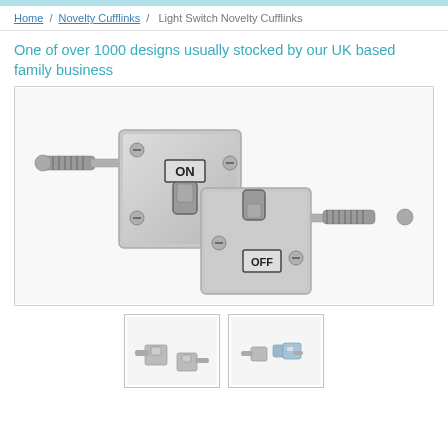Home / Novelty Cufflinks / Light Switch Novelty Cufflinks
One of over 1000 designs usually stocked by our UK based family business
[Figure (photo): Two silver light switch novelty cufflinks — one showing 'ON' position (switch up) and one showing 'OFF' position (switch down), each with screw details and knurled bar fittings]
[Figure (photo): Small thumbnail of both light switch cufflinks shown together from a distance]
[Figure (photo): Small thumbnail showing cufflinks with packaging/box]